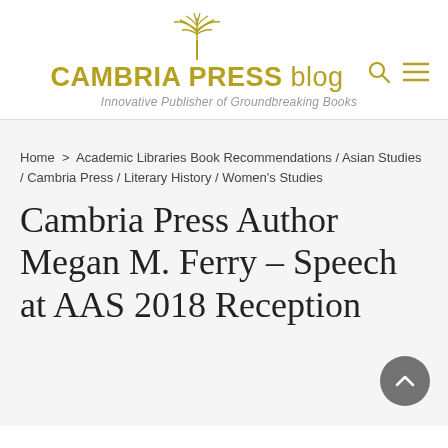CAMBRIA PRESS blog — Innovative Publisher of Groundbreaking Books
Home > Academic Libraries Book Recommendations / Asian Studies / Cambria Press / Literary History / Women's Studies
Cambria Press Author Megan M. Ferry – Speech at AAS 2018 Reception